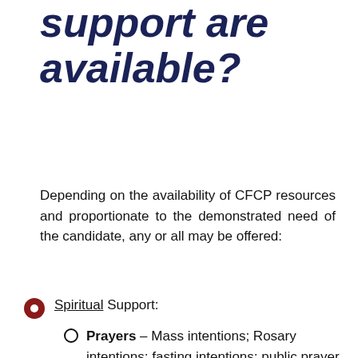support are available?
Depending on the availability of CFCP resources and proportionate to the demonstrated need of the candidate, any or all may be offered:
Spiritual Support:
Prayers – Mass intentions; Rosary intentions; fasting intentions; public prayer rallies at a requested location (e.g. Chancery, Parish).